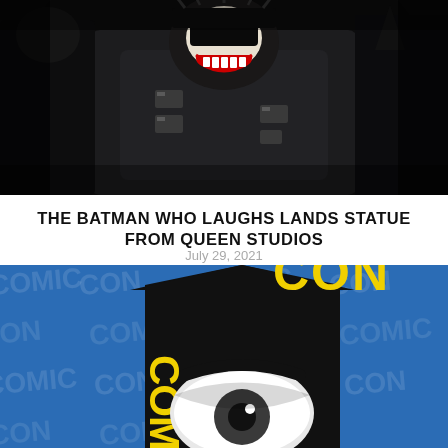[Figure (photo): The Batman Who Laughs action figure/statue in dark tactical armor, laughing with metal spikes, dark background — from Queen Studios]
THE BATMAN WHO LAUGHS LANDS STATUE FROM QUEEN STUDIOS
July 29, 2021
[Figure (photo): San Diego Comic-Con @ Home logo on a blue background with repeated SDCC Comic-Con watermark text]